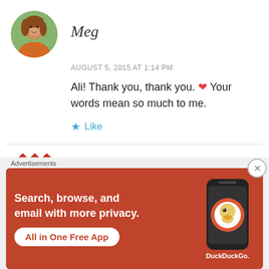Meg
AUGUST 5, 2015 AT 1:14 PM
Ali! Thank you, thank you. ❤ Your words mean so much to me.
Like
Jennifer
[Figure (other): Advertisement banner for DuckDuckGo: Search, browse, and email with more privacy. All in One Free App. Shows a phone with DuckDuckGo logo.]